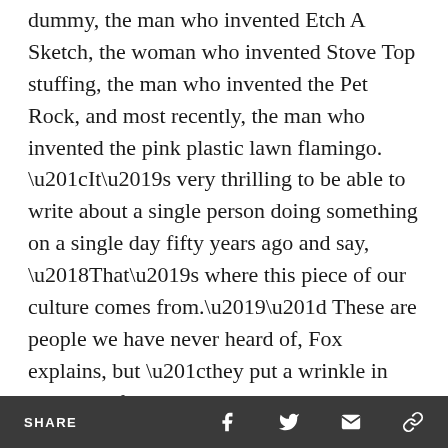dummy, the man who invented Etch A Sketch, the woman who invented Stove Top stuffing, the man who invented the Pet Rock, and most recently, the man who invented the pink plastic lawn flamingo. “It’s very thrilling to be able to write about a single person doing something on a single day fifty years ago and say, ‘That’s where this piece of our culture comes from.’” These are people we have never heard of, Fox explains, but “they put a wrinkle in the social fabric.”
Fox’s favorite assignments are those of “quirky” people, the
SHARE